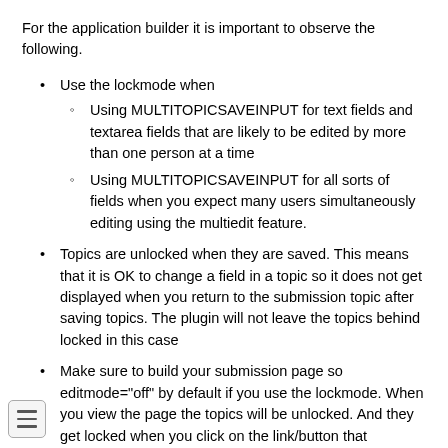For the application builder it is important to observe the following.
Use the lockmode when
Using MULTITOPICSAVEINPUT for text fields and textarea fields that are likely to be edited by more than one person at a time
Using MULTITOPICSAVEINPUT for all sorts of fields when you expect many users simultaneously editing using the multiedit feature.
Topics are unlocked when they are saved. This means that it is OK to change a field in a topic so it does not get displayed when you return to the submission topic after saving topics. The plugin will not leave the topics behind locked in this case
Make sure to build your submission page so editmode="off" by default if you use the lockmode. When you view the page the topics will be unlocked. And they get locked when you click on the link/button that